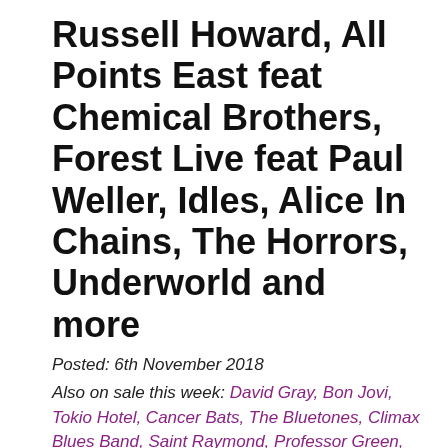Russell Howard, All Points East feat Chemical Brothers, Forest Live feat Paul Weller, Idles, Alice In Chains, The Horrors, Underworld and more
Posted: 6th November 2018
Also on sale this week: David Gray, Bon Jovi, Tokio Hotel, Cancer Bats, The Bluetones, Climax Blues Band, Saint Raymond, Professor Green, Fatherson, Ant Middleton, Lene Lovich, Sundara Karma, Crystal Fighters, Ghetts, Boyz II Men, H.E.R. and more
For ticket availability and details, click on the images below. Any prices quoted are exclusive of booking fees and are subject to change. On sale